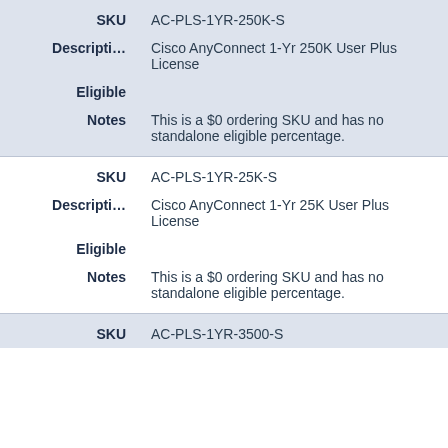| Field | Value |
| --- | --- |
| SKU | AC-PLS-1YR-250K-S |
| Descripti... | Cisco AnyConnect 1-Yr 250K User Plus License |
| Eligible |  |
| Notes | This is a $0 ordering SKU and has no standalone eligible percentage. |
| SKU | AC-PLS-1YR-25K-S |
| Descripti... | Cisco AnyConnect 1-Yr 25K User Plus License |
| Eligible |  |
| Notes | This is a $0 ordering SKU and has no standalone eligible percentage. |
| SKU | AC-PLS-1YR-3500-S |